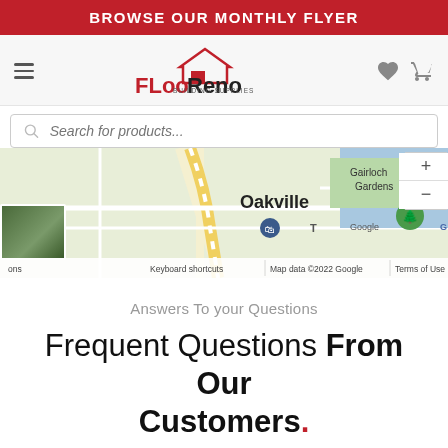BROWSE OUR MONTHLY FLYER
[Figure (logo): FlooReno Building Supplies logo with house icon]
[Figure (screenshot): Google Maps showing Oakville area with Gairloch Gardens label]
Answers To your Questions
Frequent Questions From Our Customers.